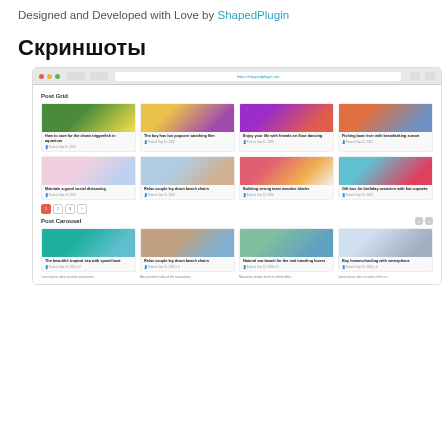Designed and Developed with Love by ShapedPlugin
Скриншоты
[Figure (screenshot): Browser screenshot showing a Post Grid with 8 post cards in a 4x2 layout, pagination, and a Post Carousel section with 4 post cards below.]